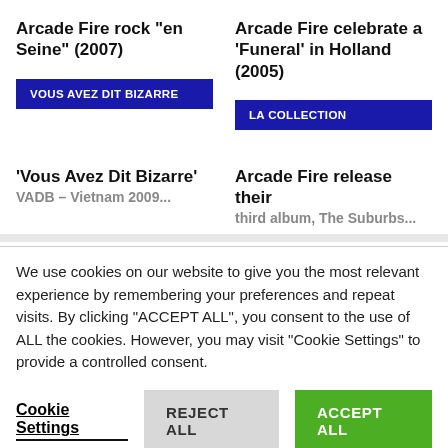Arcade Fire rock “en Seine” (2007)
VOUS AVEZ DIT BIZARRE
Arcade Fire celebrate a ‘Funeral’ in Holland (2005)
LA COLLECTION
‘Vous Avez Dit Bizarre’
Arcade Fire release their
We use cookies on our website to give you the most relevant experience by remembering your preferences and repeat visits. By clicking “ACCEPT ALL”, you consent to the use of ALL the cookies. However, you may visit “Cookie Settings” to provide a controlled consent.
Cookie Settings
REJECT ALL
ACCEPT ALL